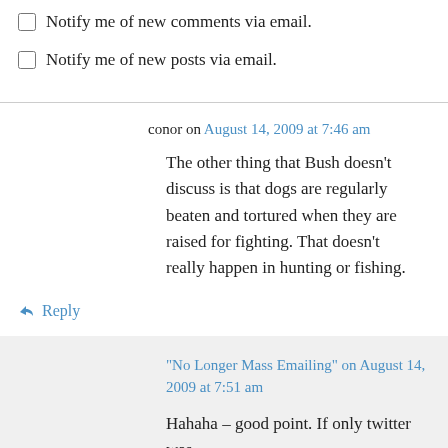Notify me of new comments via email.
Notify me of new posts via email.
conor on August 14, 2009 at 7:46 am
The other thing that Bush doesn’t discuss is that dogs are regularly beaten and tortured when they are raised for fighting. That doesn’t really happen in hunting or fishing.
↵ Reply
“No Longer Mass Emailing” on August 14, 2009 at 7:51 am
Hahaha – good point. If only twitter was